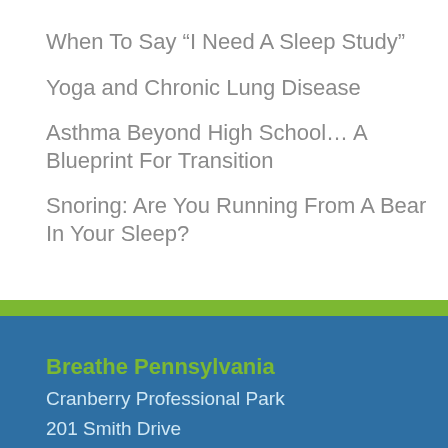When To Say “I Need A Sleep Study”
Yoga and Chronic Lung Disease
Asthma Beyond High School… A Blueprint For Transition
Snoring: Are You Running From A Bear In Your Sleep?
Breathe Pennsylvania
Cranberry Professional Park
201 Smith Drive